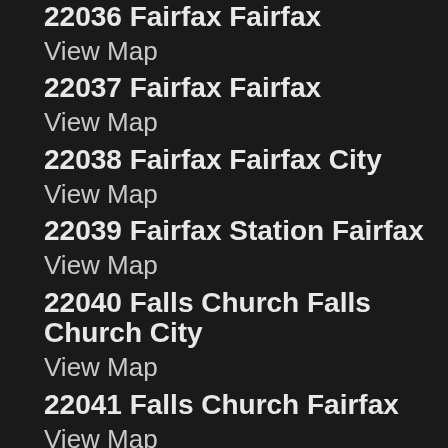22036 Fairfax Fairfax
View Map
22037 Fairfax Fairfax
View Map
22038 Fairfax Fairfax City
View Map
22039 Fairfax Station Fairfax
View Map
22040 Falls Church Falls Church City
View Map
22041 Falls Church Fairfax
View Map
22042 Falls Church Fairfax
View Map
22043 Falls Church Fairfax